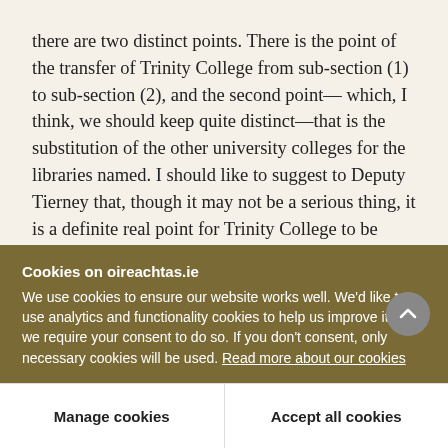there are two distinct points. There is the point of the transfer of Trinity College from sub-section (1) to sub-section (2), and the second point— which, I think, we should keep quite distinct—that is the substitution of the other university colleges for the libraries named. I should like to suggest to Deputy Tierney that, though it may not be a serious thing, it is a definite real point for Trinity College to be retained in the section where it has been placed. We have no separate grant for library maintenance, but
Cookies on oireachtas.ie
We use cookies to ensure our website works well. We'd like to use analytics and functionality cookies to help us improve it but we require your consent to do so. If you don't consent, only necessary cookies will be used. Read more about our cookies
Manage cookies
Accept all cookies